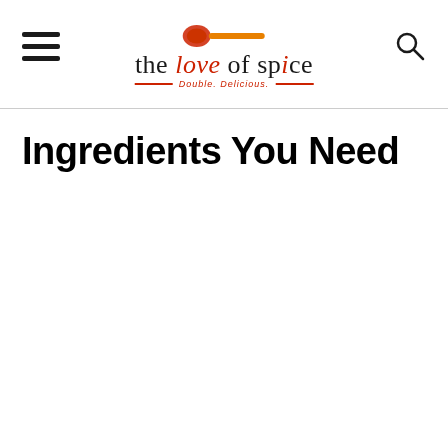the love of spice — Double Delicious
Ingredients You Need